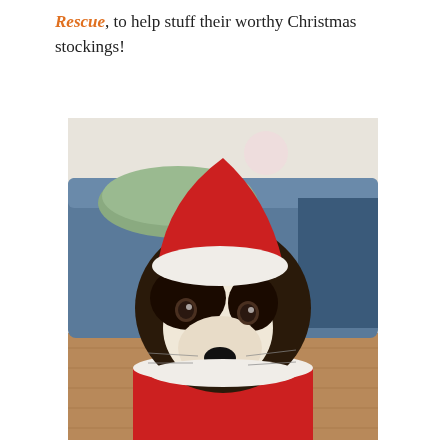Rescue, to help stuff their worthy Christmas stockings!
[Figure (photo): A black and white dog wearing a red Santa Claus costume with white fur trim and a pink pom-pom on top, sitting on a hardwood floor with a blue dog bed visible in the background. The dog is looking directly at the camera with a slightly tilted head.]